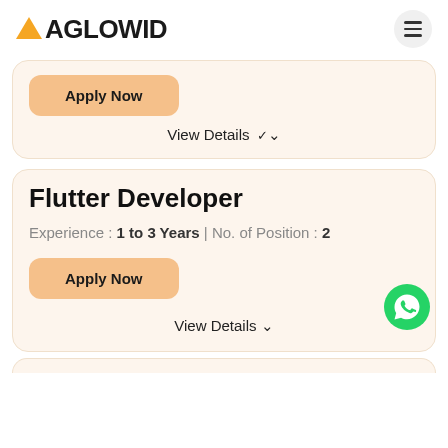AGLOWID
Apply Now
View Details
Flutter Developer
Experience : 1 to 3 Years | No. of Position : 2
Apply Now
View Details